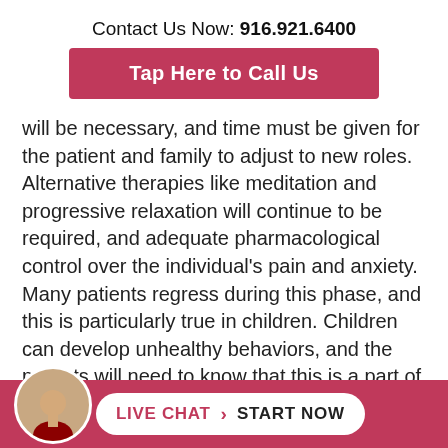Contact Us Now: 916.921.6400
Tap Here to Call Us
will be necessary, and time must be given for the patient and family to adjust to new roles. Alternative therapies like meditation and progressive relaxation will continue to be required, and adequate pharmacological control over the individual's pain and anxiety. Many patients regress during this phase, and this is particularly true in children. Children can develop unhealthy behaviors, and the parents will need to know that this is a part of the normal recovery process from a severe burn
LIVE CHAT  START NOW